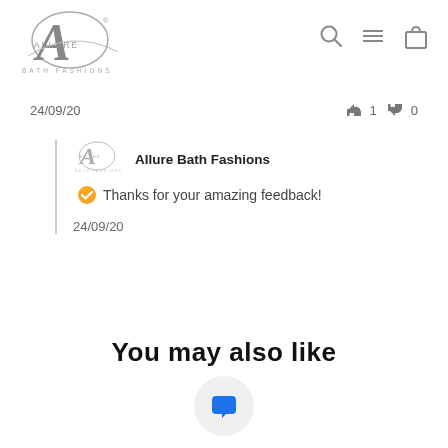[Figure (logo): Allure Bath Fashions logo with stylized A and cursive text, plus BATH FASHIONS text below]
[Figure (other): Navigation icons: search magnifier, hamburger menu, shopping bag]
24/09/20
[Figure (other): Thumbs up icon with count 1 and thumbs down icon with count 0]
[Figure (logo): Small Allure Bath Fashions logo in reply block]
Allure Bath Fashions
Thanks for your amazing feedback!
24/09/20
You may also like
[Figure (other): Blue speech bubble / chat icon in a white circle]